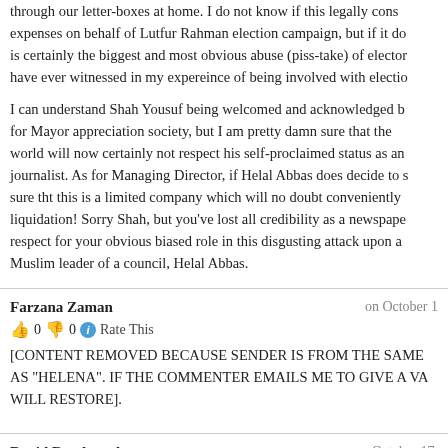through our letter-boxes at home. I do not know if this legally constitutes expenses on behalf of Lutfur Rahman election campaign, but if it does, is certainly the biggest and most obvious abuse (piss-take) of electoral... have ever witnessed in my expereince of being involved with electio...
I can understand Shah Yousuf being welcomed and acknowledged by the for Mayor appreciation society, but I am pretty damn sure that the world will now certainly not respect his self-proclaimed status as an journalist. As for Managing Director, if Helal Abbas does decide to s... sure tht this is a limited company which will no doubt conveniently go liquidation! Sorry Shah, but you've lost all credibility as a newspaper... respect for your obvious biased role in this disgusting attack upon a Muslim leader of a council, Helal Abbas.
Farzana Zaman
on October 1
0   0   Rate This
[CONTENT REMOVED BECAUSE SENDER IS FROM THE SAME AS "HELENA". IF THE COMMENTER EMAILS ME TO GIVE A VA... WILL RESTORE].
David Boothroyd
on October 17,